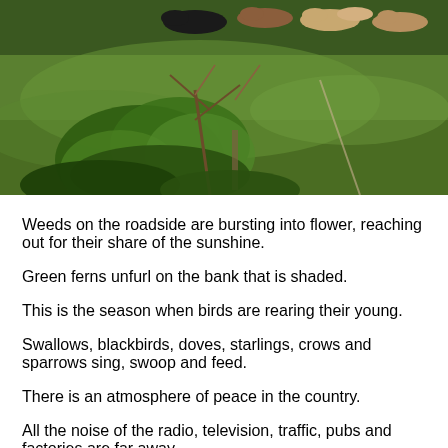[Figure (photo): A photograph of a green grassy field with cows resting in the background and leafy bushes and bare branches in the foreground.]
Weeds on the roadside are bursting into flower, reaching out for their share of the sunshine.
Green ferns unfurl on the bank that is shaded.
This is the season when birds are rearing their young.
Swallows, blackbirds, doves, starlings, crows and sparrows sing, swoop and feed.
There is an atmosphere of peace in the country.
All the noise of the radio, television, traffic, pubs and factories are far away.
It is healing for one's mind.